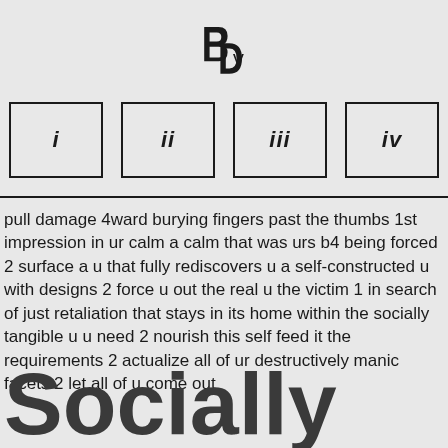[Figure (logo): Stylized interlocked B/D letter logo mark in dark color]
[Figure (other): Four boxed roman numerals: i, ii, iii, iv as navigation elements]
pull damage 4ward burying fingers past the thumbs 1st impression in ur calm a calm that was urs b4 being forced 2 surface a u that fully rediscovers u a self-constructed u with designs 2 force u out the real u the victim 1 in search of just retaliation that stays in its home within the socially tangible u u need 2 nourish this self feed it the requirements 2 actualize all of ur destructively manic facets 2 let all of u come out
Socially